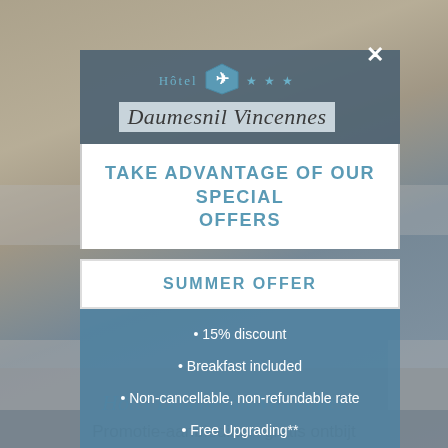[Figure (screenshot): Hotel website screenshot with modal popup for special offers. Background shows hotel room photo. Modal contains hotel logo, special offers title, summer offer section, and list of offer benefits.]
TAKE ADVANTAGE OF OUR SPECIAL OFFERS
SUMMER OFFER
• 15% discount
• Breakfast included
• Non-cancellable, non-refundable rate
• Free Upgrading**
• Early Check-In**
Hôtel Daumesnil Vincennes
Promotie-aanbieding - gratis ontbijt